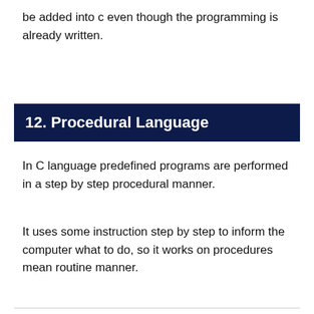be added into c even though the programming is already written.
12. Procedural Language
In C language predefined programs are performed in a step by step procedural manner.
It uses some instruction step by step to inform the computer what to do, so it works on procedures mean routine manner.